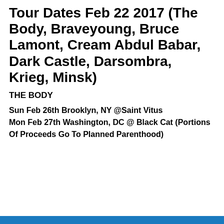Tour Dates Feb 22 2017 (The Body, Braveyoung, Bruce Lamont, Cream Abdul Babar, Dark Castle, Darsombra, Krieg, Minsk)
THE BODY
Sun Feb 26th Brooklyn, NY @Saint Vitus
Mon Feb 27th Washington, DC @ Black Cat (Portions Of Proceeds Go To Planned Parenthood)
Privacy & Cookies: This site uses cookies. By continuing to use this website, you agree to their use.
To find out more, including how to control cookies, see here: Cookie Policy